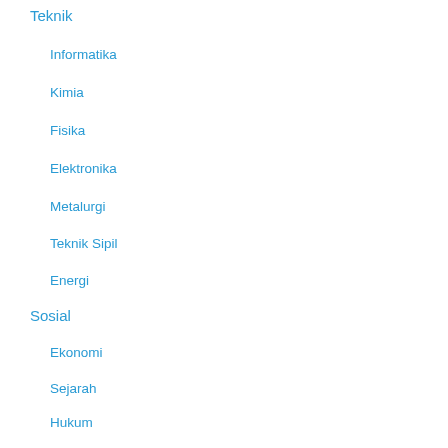Teknik
Informatika
Kimia
Fisika
Elektronika
Metalurgi
Teknik Sipil
Energi
Sosial
Ekonomi
Sejarah
Hukum
Hubungan Internasional
Politik
Budaya